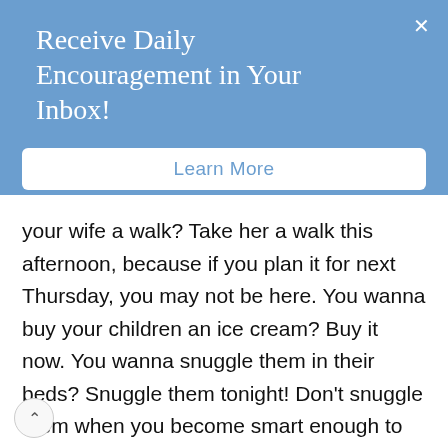Receive Daily Encouragement in Your Inbox!
Learn More
your wife a walk? Take her a walk this afternoon, because if you plan it for next Thursday, you may not be here. You wanna buy your children an ice cream? Buy it now. You wanna snuggle them in their beds? Snuggle them tonight! Don't snuggle them when you become smart enough to take four days off a week. You may never live long enough. Snuggle them tonight, 'cause it's the only night you've got. Love your wife today; it's the only day